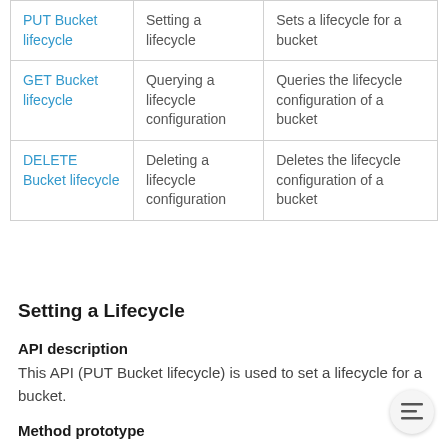| PUT Bucket lifecycle | Setting a lifecycle | Sets a lifecycle for a bucket |
| GET Bucket lifecycle | Querying a lifecycle configuration | Queries the lifecycle configuration of a bucket |
| DELETE Bucket lifecycle | Deleting a lifecycle configuration | Deletes the lifecycle configuration of a bucket |
Setting a Lifecycle
API description
This API (PUT Bucket lifecycle) is used to set a lifecycle for a bucket.
Method prototype